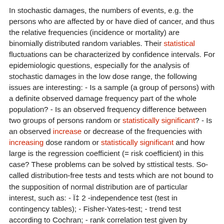In stochastic damages, the numbers of events, e.g. the persons who are affected by or have died of cancer, and thus the relative frequencies (incidence or mortality) are binomially distributed random variables. Their statistical fluctuations can be characterized by confidence intervals. For epidemiologic questions, especially for the analysis of stochastic damages in the low dose range, the following issues are interesting: - Is a sample (a group of persons) with a definite observed damage frequency part of the whole population? - Is an observed frequency difference between two groups of persons random or statistically significant? - Is an observed increase or decrease of the frequencies with increasing dose random or statistically significant and how large is the regression coefficient (= risk coefficient) in this case? These problems can be solved by sttistical tests. So-called distribution-free tests and tests which are not bound to the supposition of normal distribution are of particular interest, such as: - Ï‡ 2 -independence test (test in contingency tables); - Fisher-Yates-test; - trend test according to Cochran; - rank correlation test given by Spearman. These tests are explained in terms of selected epidemiologic data, e.g. of leukaemia clusters, of the cancer mortality of the Japanese A-bomb survivors especially in the low dose range as well as on